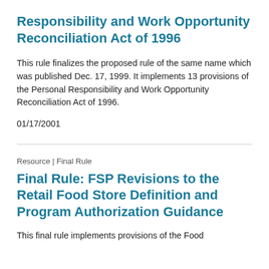Responsibility and Work Opportunity Reconciliation Act of 1996
This rule finalizes the proposed rule of the same name which was published Dec. 17, 1999. It implements 13 provisions of the Personal Responsibility and Work Opportunity Reconciliation Act of 1996.
01/17/2001
Resource | Final Rule
Final Rule: FSP Revisions to the Retail Food Store Definition and Program Authorization Guidance
This final rule implements provisions of the Food